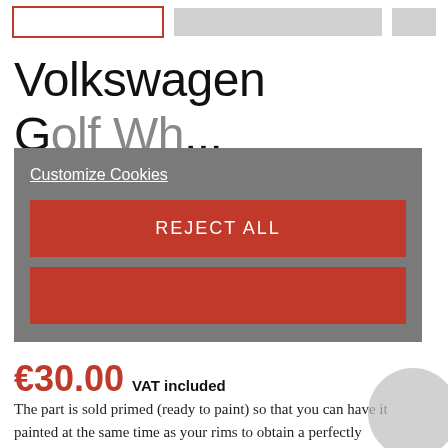[Figure (screenshot): Top navigation bar with a red-outlined button, a gray button, and a small gray button]
Volkswagen Golf Wh...
[Figure (screenshot): Cookie consent overlay with dark gray background, 'Customize Cookies' underlined link, a red 'REJECT ALL' button, and a second red button (partially obscured)]
€30.00 VAT included
The part is sold primed (ready to paint) so that you can have it painted at the same time as your rims to obtain a perfectly similar shade or even the possibility of having them painted in the color of your choice.